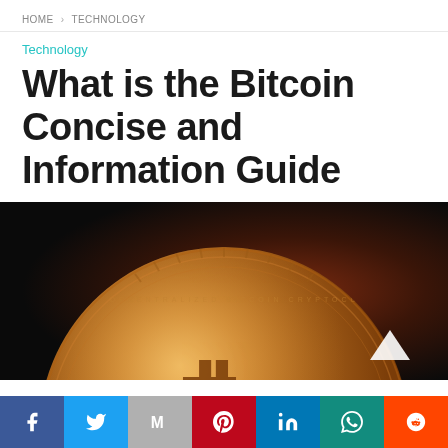HOME > TECHNOLOGY
Technology
What is the Bitcoin Concise and Information Guide
[Figure (photo): Close-up photograph of a gold Bitcoin coin against a dark background with warm reddish tones]
[Figure (other): Social media share bar with icons for Facebook, Twitter, Mail, Pinterest, LinkedIn, WhatsApp, and Reddit]